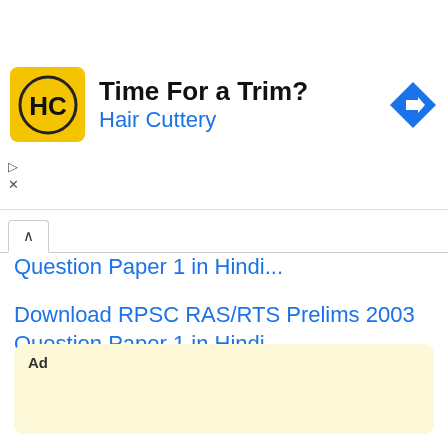[Figure (other): Advertisement banner for Hair Cuttery with logo, 'Time For a Trim?' heading, and navigation arrow icon]
Question Paper 1 in Hindi...
Download RPSC RAS/RTS Prelims 2003 Question Paper 1 in Hindi...
Download RPSC RAS/RTS Prelims 2007 Question Paper 1 in Hindi...
[Figure (other): Ad placeholder box with 'Ad' label]